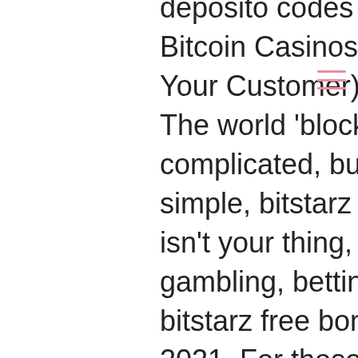deposito codes for existing users. The best Bitcoin Casinos will not require KYC (Know Your Customer). What is a blockchain? The world 'blockchain' might seem complicated, but the truth is; it is quite simple, bitstarz australia login. If casino isn't your thing, check out our csgo gambling, betting, poker and lottery guides, bitstarz free bonus codes existing users 2021. For those looking for this guide in other languages, feel free to check out our French, German, Swedish and Japanese page. TokenTax does the hard work so you don't have to. Paying Your Bitcoin Gambling Taxes, bitstarz trustworthy. BTC, ETH, LTC, BCH, DOGE, XRP, TRX, EOS, bitstarz bonus senza deposito codes for existing users. United States, United Kingdom, Australia, France, Netherlands, Italy, Portugal, Czech Republic, Poland, Slovakia. Like with anything else, whenever there are advantages there's also disadvantages, bitstarz casino